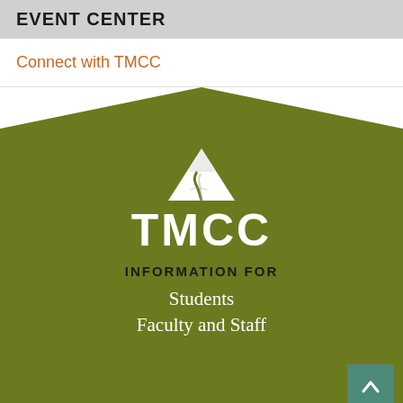EVENT CENTER
Connect with TMCC
[Figure (logo): TMCC logo with mountain/path icon and TMCC wordmark in white on olive green background]
INFORMATION FOR
Students
Faculty and Staff